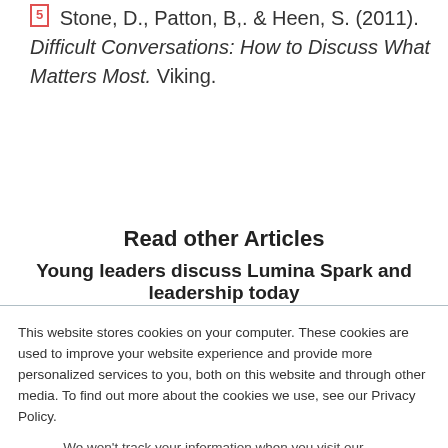[5] Stone, D., Patton, B,. & Heen, S. (2011). Difficult Conversations: How to Discuss What Matters Most. Viking.
Read other Articles
Young leaders discuss Lumina Spark and leadership today
This website stores cookies on your computer. These cookies are used to improve your website experience and provide more personalized services to you, both on this website and through other media. To find out more about the cookies we use, see our Privacy Policy.
We won't track your information when you visit our site. But in order to comply with your preferences, we'll have to use just one tiny cookie so that you're not asked to make this choice again.